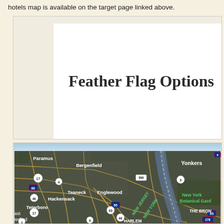hotels map is available on the target page linked above.
[Figure (screenshot): Screenshot of a webpage showing 'Feather Flag Options' title on a white panel over a beige background]
[Figure (map): Satellite map showing New Jersey and New York area including Paramus, Bergenfield, Yonkers, Teaneck, Englewood, Hackensack, Teterboro, New York Botanical Garden, THE BRONX, HARLEM, and various highway routes including 80, 95, 46, 17, 4, 9W, 9, 93, 278, 3]